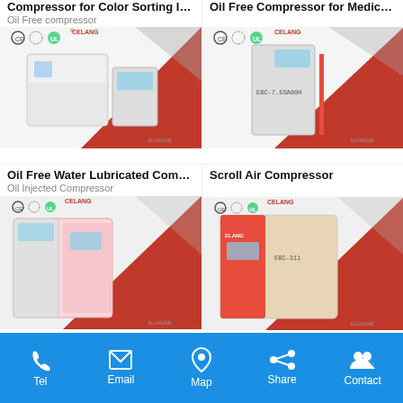Compressor for Color Sorting Ind...
Oil Free compressor
[Figure (photo): Oil Free compressor unit with CELANG brand, CE UL TUV certified, white cabinet with red accents]
Oil Free Compressor for Medica...
[Figure (photo): Oil Free Compressor for Medical use, CELANG brand, EBC-7.5SA00H model, white/red cabinet]
Oil Free Water Lubricated Compr...
Oil Injected Compressor
[Figure (photo): Oil Free Water Lubricated Compressor, CELANG brand, large industrial unit pink/white with red]
Scroll Air Compressor
[Figure (photo): Scroll Air Compressor, CELANG brand, red and beige large industrial unit]
Direct Driven Screw Compressor
Energy Saving Compressor
Belt Driven Screw Compressor
Tel  Email  Map  Share  Contact